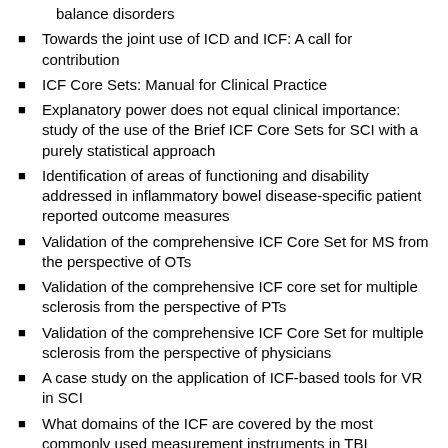balance disorders
Towards the joint use of ICD and ICF: A call for contribution
ICF Core Sets: Manual for Clinical Practice
Explanatory power does not equal clinical importance: study of the use of the Brief ICF Core Sets for SCI with a purely statistical approach
Identification of areas of functioning and disability addressed in inflammatory bowel disease-specific patient reported outcome measures
Validation of the comprehensive ICF Core Set for MS from the perspective of OTs
Validation of the comprehensive ICF core set for multiple sclerosis from the perspective of PTs
Validation of the comprehensive ICF Core Set for multiple sclerosis from the perspective of physicians
A case study on the application of ICF-based tools for VR in SCI
What domains of the ICF are covered by the most commonly used measurement instruments in TBI research?
Development of the first disability index for IBD